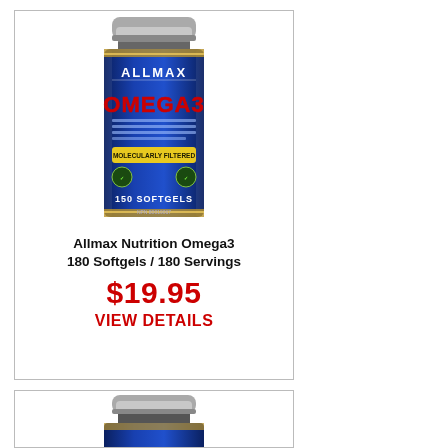[Figure (photo): Allmax Nutrition Omega3 supplement bottle, blue with silver cap, 150 softgels label]
Allmax Nutrition Omega3
180 Softgels / 180 Servings
$19.95
VIEW DETAILS
[Figure (photo): Partial view of second Allmax Nutrition supplement bottle, blue with silver cap]